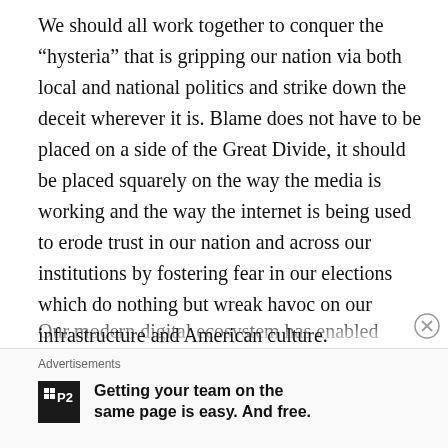We should all work together to conquer the “hysteria” that is gripping our nation via both local and national politics and strike down the deceit wherever it is. Blame does not have to be placed on a side of the Great Divide, it should be placed squarely on the way the media is working and the way the internet is being used to erode trust in our nation and across our institutions by fostering fear in our elections which do nothing but wreak havoc on our infrastructure and American culture.
Facebook did what they did because this was the demand placed on them – as did Twitter -, it was even joked about during the entire election process of 2020. Our modern digital ecosystem has enabled
Advertisements
[Figure (logo): P2 logo - black square with white text showing a grid icon and P2]
Getting your team on the same page is easy. And free.